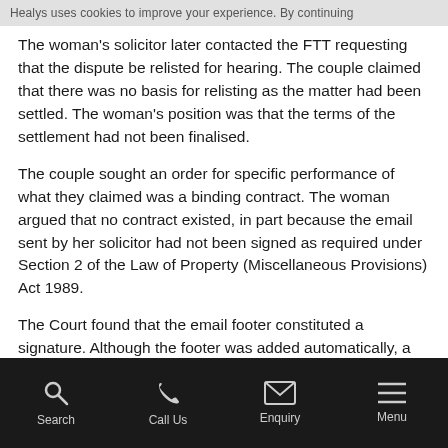Healys uses cookies to improve your experience. By continuing
The woman's solicitor later contacted the FTT requesting that the dispute be relisted for hearing. The couple claimed that there was no basis for relisting as the matter had been settled. The woman's position was that the terms of the settlement had not been finalised.
The couple sought an order for specific performance of what they claimed was a binding contract. The woman argued that no contract existed, in part because the email sent by her solicitor had not been signed as required under Section 2 of the Law of Property (Miscellaneous Provisions) Act 1989.
The Court found that the email footer constituted a signature. Although the footer was added automatically, a conscious decision would have been made at some point that it should be added to outgoing emails. The woman's solicitor was aware that the footer would be added and the words ‘Many thanks’ indicated that there was an intention to connect the name with the email’s contents. An ordinary person would regard such a footer as a signature.
Search   Call Us   Enquiry   Menu